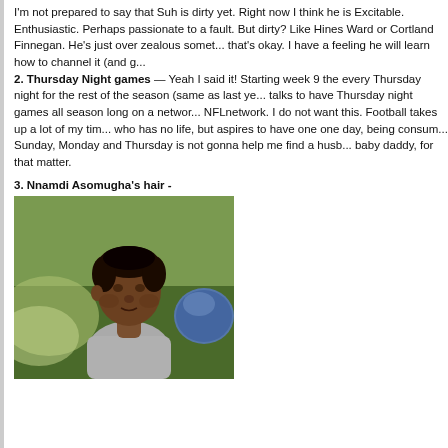I'm not prepared to say that Suh is dirty yet. Right now I think he is Excitable. Enthusiastic. Perhaps passionate to a fault. But dirty? Like Hines Ward or Cortland Finnegan. He's just over zealous sometimes and that's okay. I have a feeling he will learn how to channel it (and g...
2. Thursday Night games — Yeah I said it! Starting week 9 the every Thursday night for the rest of the season (same as last year, talks to have Thursday night games all season long on a network NFLnetwork. I do not want this. Football takes up a lot of my time who has no life, but aspires to have one one day, being consumed Sunday, Monday and Thursday is not gonna help me find a husb baby daddy, for that matter.
3. Nnamdi Asomugha's hair -
[Figure (photo): Photo of a young Black football player (Nnamdi Asomugha) in a gray shirt, with a blue helmet visible in the background right. Green outdoor background suggesting a practice field.]